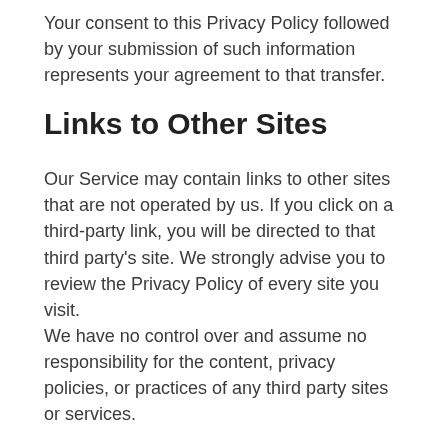Your consent to this Privacy Policy followed by your submission of such information represents your agreement to that transfer.
Links to Other Sites
Our Service may contain links to other sites that are not operated by us. If you click on a third-party link, you will be directed to that third party's site. We strongly advise you to review the Privacy Policy of every site you visit.
We have no control over and assume no responsibility for the content, privacy policies, or practices of any third party sites or services.
Children's Privacy
Our Service does not address anyone under the a...